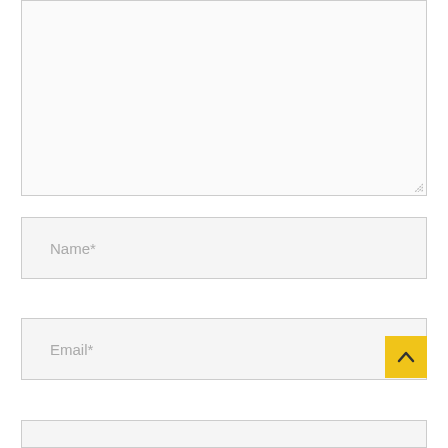[Figure (screenshot): A large empty textarea input box with a resize handle at bottom-right corner]
Name*
Email*
[Figure (other): Yellow scroll-to-top button with upward chevron arrow]
[Figure (screenshot): Bottom input field partially visible]